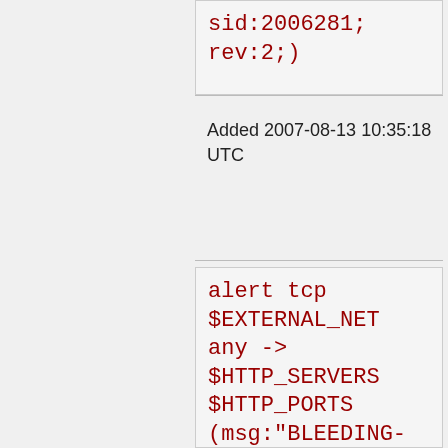sid:2006281; rev:2;)
Added 2007-08-13 10:35:18 UTC
alert tcp $EXTERNAL_NET any -> $HTTP_SERVERS $HTTP_PORTS (msg:"BLEEDING-EDGE WEB VerliAdmin? SQL Injection Attempt -- repass.php nick_mod INSERT"; flow:established,to_server; uricontent:"/repass.php?"; nocase; uricontent:"nick_mod=";